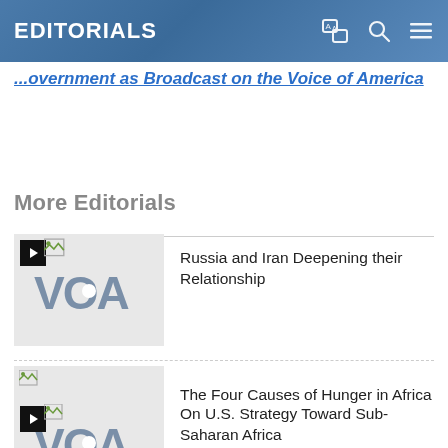EDITORIALS
Government as Broadcast on the Voice of America
More Editorials
[Figure (screenshot): VOA logo thumbnail with video camera icon, for article: Russia and Iran Deepening their Relationship]
Russia and Iran Deepening their Relationship
[Figure (screenshot): VOA logo thumbnail for article: The Four Causes of Hunger in Africa]
The Four Causes of Hunger in Africa
[Figure (screenshot): VOA logo thumbnail with video camera icon, for article: On U.S. Strategy Toward Sub-Saharan Africa]
On U.S. Strategy Toward Sub-Saharan Africa